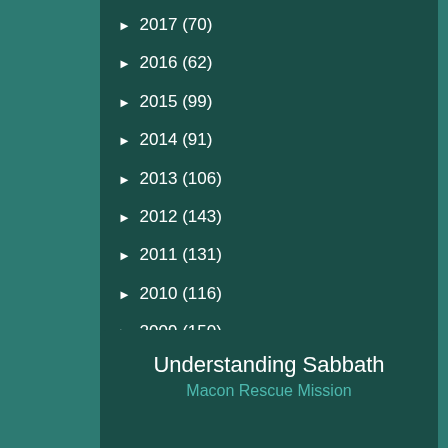► 2017 (70)
► 2016 (62)
► 2015 (99)
► 2014 (91)
► 2013 (106)
► 2012 (143)
► 2011 (131)
► 2010 (116)
► 2009 (150)
► 2008 (126)
Understanding Sabbath
Macon Rescue Mission